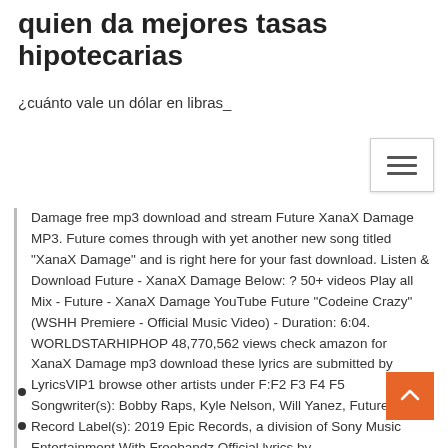quien da mejores tasas hipotecarias
¿cuánto vale un dólar en libras_
Damage free mp3 download and stream Future XanaX Damage MP3. Future comes through with yet another new song titled "XanaX Damage" and is right here for your fast download. Listen & Download Future - XanaX Damage Below: ? 50+ videos Play all Mix - Future - XanaX Damage YouTube Future "Codeine Crazy" (WSHH Premiere - Official Music Video) - Duration: 6:04. WORLDSTARHIPHOP 48,770,562 views check amazon for XanaX Damage mp3 download these lyrics are submitted by LyricsVIP1 browse other artists under F:F2 F3 F4 F5 Songwriter(s): Bobby Raps, Kyle Nelson, Will Yanez, Future Record Label(s): 2019 Epic Records, a division of Sony Music Entertainment With Freebandz Official lyrics by